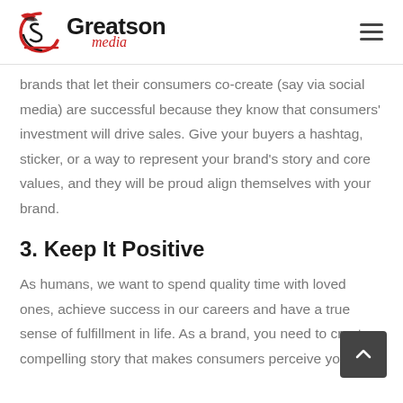Greatson Media
brands that let their consumers co-create (say via social media) are successful because they know that consumers' investment will drive sales. Give your buyers a hashtag, sticker, or a way to represent your brand's story and core values, and they will be proud align themselves with your brand.
3. Keep It Positive
As humans, we want to spend quality time with loved ones, achieve success in our careers and have a true sense of fulfillment in life. As a brand, you need to create a compelling story that makes consumers perceive your